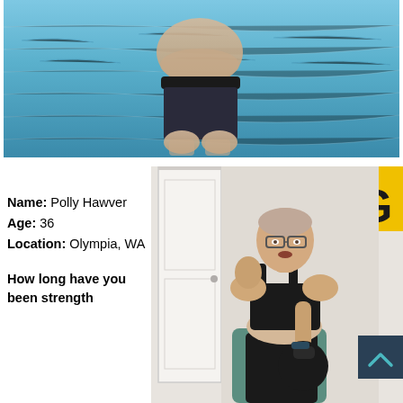[Figure (photo): Top photo: person standing in a blue stream/river water, viewed from torso down, wearing dark shorts. Water is clear blue-green with ripple patterns.]
Name: Polly Hawver
Age: 36
Location: Olympia, WA

How long have you been strength
[Figure (photo): Photo of a woman wearing glasses and black workout clothes, doing a kettlebell exercise in a home gym setting. A yellow banner is visible in the background. A dark blue button with an up chevron arrow is in the bottom right corner.]